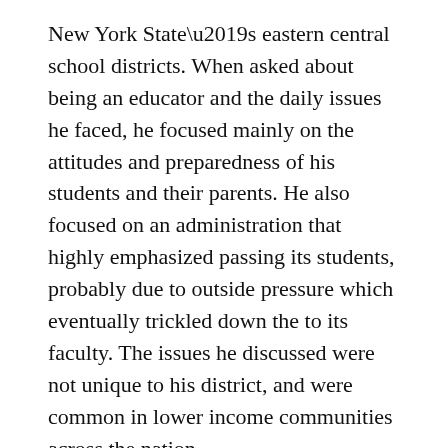New York State's eastern central school districts. When asked about being an educator and the daily issues he faced, he focused mainly on the attitudes and preparedness of his students and their parents. He also focused on an administration that highly emphasized passing its students, probably due to outside pressure which eventually trickled down the to its faculty. The issues he discussed were not unique to his district, and were common in lower income communities across the nation.
“One of the hardest parts of the job was getting the students to believe that I knew what I was talking about,” he said. The adolescent years are known to be the start of a